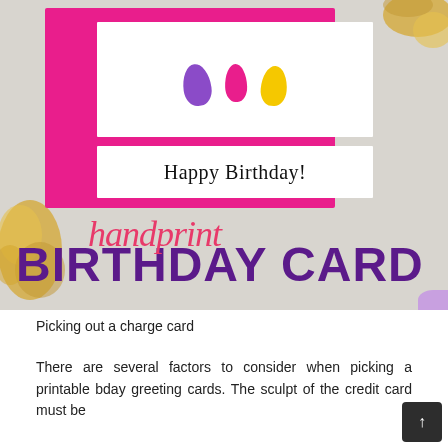[Figure (photo): A handprint birthday card craft photo showing colorful fingerprints (purple, pink, yellow) on a white card mounted on pink cardstock, with 'Happy Birthday!' text banner. Overlaid text reads 'handprint' in pink script and 'BIRTHDAY CARD' in bold purple uppercase letters. Background has gold leaf texture on grey surface.]
Picking out a charge card
There are several factors to consider when picking a printable bday greeting cards. The sculpt of the credit card must be